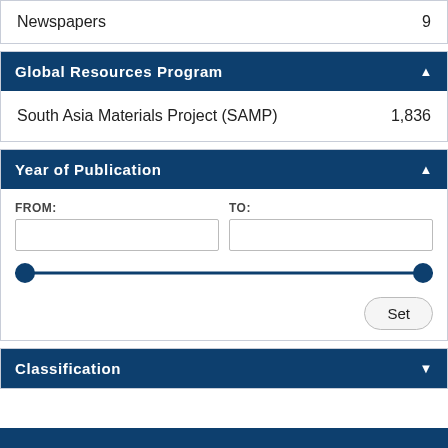| Type | Count |
| --- | --- |
| Newspapers | 9 |
Global Resources Program ▲
| Program | Count |
| --- | --- |
| South Asia Materials Project (SAMP) | 1,836 |
Year of Publication ▲
FROM: [input field] TO: [input field] [range slider] Set
Classification ▼